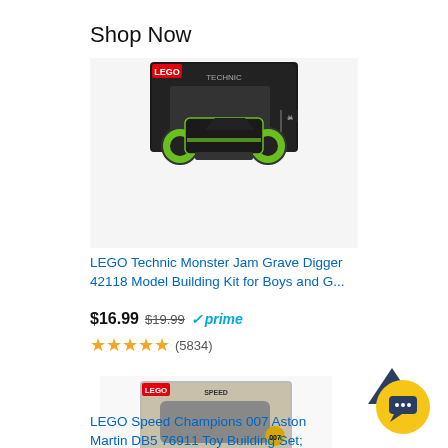Shop Now
[Figure (photo): LEGO Technic Monster Jam Grave Digger product photo showing the box and the assembled green monster truck model]
LEGO Technic Monster Jam Grave Digger 42118 Model Building Kit for Boys and G...
$16.99  $19.99  ✓prime
★★★★★ (5834)
[Figure (photo): LEGO Speed Champions 007 Aston Martin DB5 76911 product photo showing the box and the assembled grey car model with a minifigure]
LEGO Speed Champions 007 Aston Martin DB5 76911 Toy Building Set; James Bo...